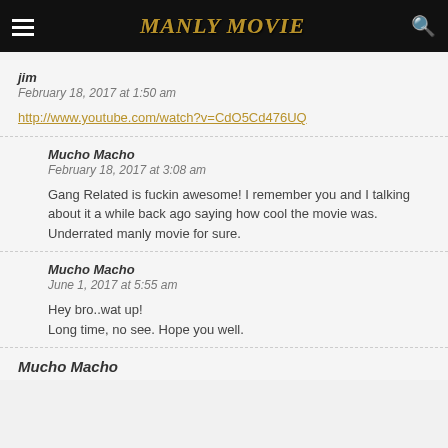MANLY MOVIE
jim
February 18, 2017 at 1:50 am
http://www.youtube.com/watch?v=CdO5Cd476UQ
Mucho Macho
February 18, 2017 at 3:08 am
Gang Related is fuckin awesome! I remember you and I talking about it a while back ago saying how cool the movie was.
Underrated manly movie for sure.
Mucho Macho
June 1, 2017 at 5:55 am
Hey bro..wat up!
Long time, no see. Hope you well.
Mucho Macho